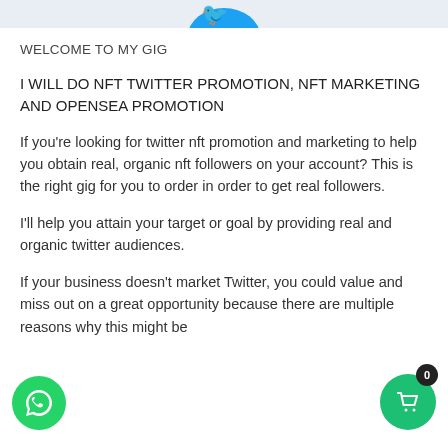[Figure (illustration): Partial blue Twitter bird logo visible at the top center of the page, cropped by the top edge]
WELCOME TO MY GIG
I WILL DO NFT TWITTER PROMOTION, NFT MARKETING AND OPENSEA PROMOTION
If you’re looking for twitter nft promotion and marketing to help you obtain real, organic nft followers on your account? This is the right gig for you to order in order to get real followers.
I’ll help you attain your target or goal by providing real and organic twitter audiences.
If your business doesn’t market Twitter, you could value and miss out on a great opportunity because there are multiple reasons why this might be